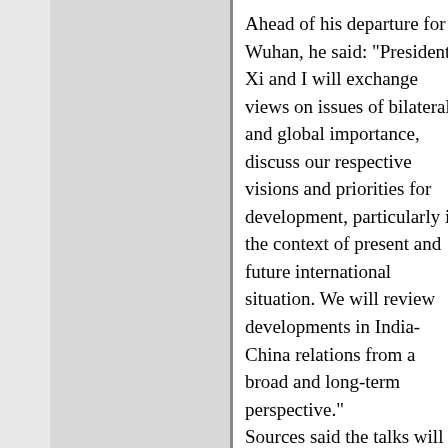Ahead of his departure for Wuhan, he said: "President Xi and I will exchange views on issues of bilateral and global importance, discuss our respective visions and priorities for development, particularly in the context of present and future international situation. We will review developments in India-China relations from a broad and long-term perspective."
Sources said the talks will not be on any agenda but "the future direction of the relationship" with concerns and sensitivities such as the China-Pakistan Economic Corridor, Belt and Road Initiative, Masood Azhar and India's membership of Nuclear Suppliers Group. From the Chinese side, the Tibetan issue and how India handles it will be key questions.
Preparatory work on the new arrangement has been taking place since last September, when leaders met in Xiamen on the sidelines of the BRICS, and wanted to talk "in detail", but could